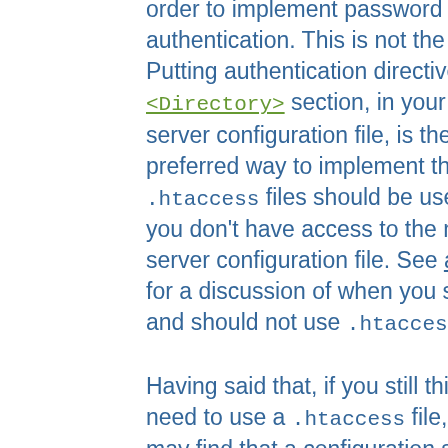are required to use .htaccess files in order to implement password authentication. This is not the case. Putting authentication directives in a <Directory> section, in your main server configuration file, is the preferred way to implement this, and .htaccess files should be used only if you don't have access to the main server configuration file. See above for a discussion of when you should and should not use .htaccess files.

Having said that, if you still think you need to use a .htaccess file, you may find that a configuration such as